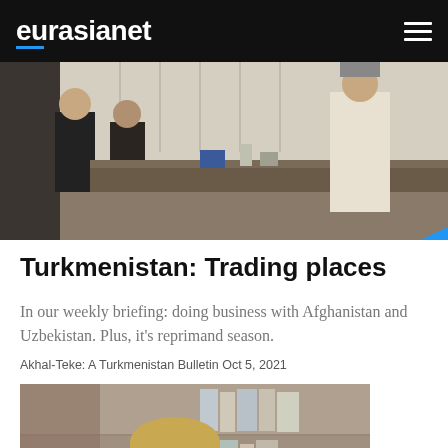eurasianet
[Figure (photo): Two people in a meeting room, one in dark suit and one in light traditional clothing, seated across from each other at a table with items on it.]
Turkmenistan: Trading places
In our weekly briefing: doing business with Afghanistan and Uzbekistan. Plus, it's reprimand season.
Akhal-Teke: A Turkmenistan Bulletin Oct 5, 2021
[Figure (photo): A young blond man wearing glasses and a plaid shirt, seated in front of a bookshelf.]